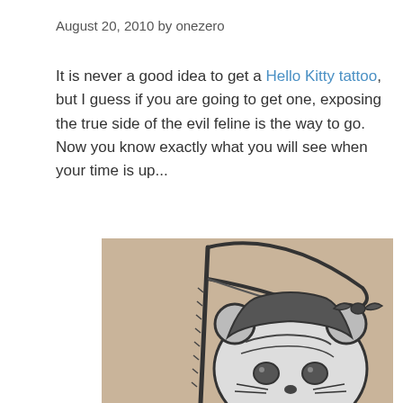August 20, 2010 by onezero
It is never a good idea to get a Hello Kitty tattoo, but I guess if you are going to get one, exposing the true side of the evil feline is the way to go. Now you know exactly what you will see when your time is up...
[Figure (photo): A tattoo of Hello Kitty depicted as a grim reaper, holding a scythe, with a hooded cloak, whiskers, and a bow, tattooed on skin.]